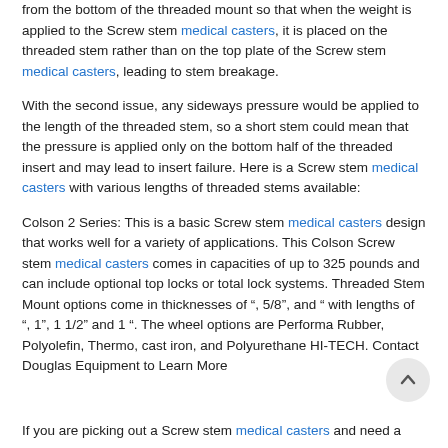from the bottom of the threaded mount so that when the weight is applied to the Screw stem medical casters, it is placed on the threaded stem rather than on the top plate of the Screw stem medical casters, leading to stem breakage.
With the second issue, any sideways pressure would be applied to the length of the threaded stem, so a short stem could mean that the pressure is applied only on the bottom half of the threaded insert and may lead to insert failure. Here is a Screw stem medical casters with various lengths of threaded stems available:
Colson 2 Series: This is a basic Screw stem medical casters design that works well for a variety of applications. This Colson Screw stem medical casters comes in capacities of up to 325 pounds and can include optional top locks or total lock systems. Threaded Stem Mount options come in thicknesses of ?", 5/8", and ?" with lengths of ?", 1", 1 1/2" and 1 ?". The wheel options are Performa Rubber, Polyolefin, Thermo, cast iron, and Polyurethane HI-TECH. Contact Douglas Equipment to Learn More
If you are picking out a Screw stem medical casters and need a